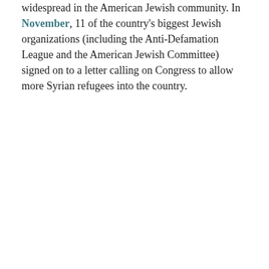widespread in the American Jewish community. In November, 11 of the country's biggest Jewish organizations (including the Anti-Defamation League and the American Jewish Committee) signed on to a letter calling on Congress to allow more Syrian refugees into the country.